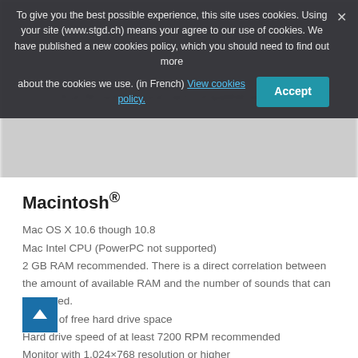To give you the best possible experience, this site uses cookies. Using your site (www.stgd.ch) means your agree to our use of cookies. We have published a new cookies policy, which you should need to find out more about the cookies we use. (in French) View cookies policy. Accept
Macintosh®
Mac OS X 10.6 though 10.8
Mac Intel CPU (PowerPC not supported)
2 GB RAM recommended. There is a direct correlation between the amount of available RAM and the number of sounds that can be loaded.
3.5 GB of free hard drive space
Hard drive speed of at least 7200 RPM recommended
Monitor with 1,024×768 resolution or higher
A sound card compatible with Core Audio
Internet connection for download version, updates and online registration
DVD-ROM drive required for boxed version installation
Optional
A MIDI interface may be required if you are using a MIDI keyboard. Many keyboards now use USB